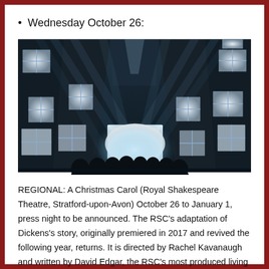Wednesday October 26:
[Figure (photo): Dark theatrical stage photo showing silhouettes of audience members facing a bright glowing rectangle on stage, surrounded by dramatic diagonal light beams and illuminated windows on dark walls — a scene from A Christmas Carol at the Royal Shakespeare Theatre.]
REGIONAL: A Christmas Carol (Royal Shakespeare Theatre, Stratford-upon-Avon) October 26 to January 1, press night to be announced. The RSC's adaptation of Dickens's story, originally premiered in 2017 and revived the following year, returns. It is directed by Rachel Kavanaugh and written by David Edgar, the RSC's most produced living playwright.